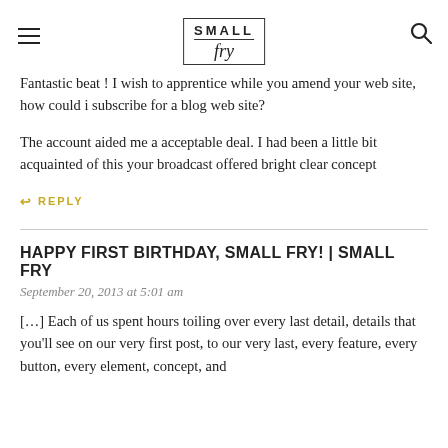SMALL fry — navigation header with hamburger menu and search icon
Fantastic beat ! I wish to apprentice while you amend your web site, how could i subscribe for a blog web site?
The account aided me a acceptable deal. I had been a little bit acquainted of this your broadcast offered bright clear concept
↩ REPLY
HAPPY FIRST BIRTHDAY, SMALL FRY! | SMALL FRY
September 20, 2013 at 5:01 am
[…] Each of us spent hours toiling over every last detail, details that you'll see on our very first post, to our very last, every feature, every button, every element, concept, and